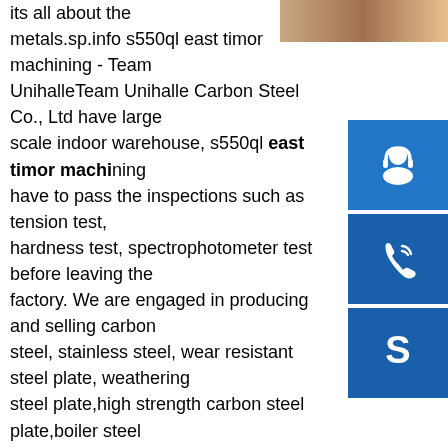[Figure (photo): Partial photo strip at top right, showing a warm brown/orange tone suggesting a metal or wood surface]
its all about the metals.sp.info s550ql east timor machining - Team UnihalleTeam Unihalle Carbon Steel Co., Ltd have large scale indoor warehouse, s550ql east timor machining have to pass the inspections such as tension test, hardness test, spectrophotometer test before leaving the factory. We are engaged in producing and selling carbon steel, stainless steel, wear resistant steel plate, weathering steel plate,high strength carbon steel plate,boiler steel materials ...sp.info steel s550ql east timor machining KCR - Marine Steel Platesteel s550ql east timor machining price, steel s355m east timor machining. Supplier from China. Product Id 682421. Derrick - Stack Sizer, mineral recovery, fine screening ... STACK SIZER &. The Derrick &Stack Sizer &redefines fine particle wet screening, offering high capacity and exceptional efficiency in minimal space.sp.info steel a633grade e east timor machining - Climagas CS Steel ...Climagas CS Steel Plates is the largest steel production in China. The East
[Figure (infographic): Blue sidebar with three icons: headset/customer service icon, phone icon, and Skype icon]